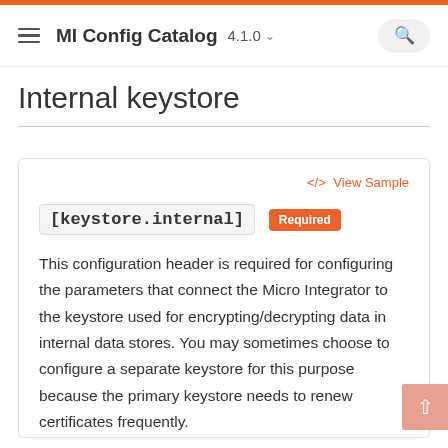MI Config Catalog 4.1.0
Internal keystore
</> View Sample
[keystore.internal] Required
This configuration header is required for configuring the parameters that connect the Micro Integrator to the keystore used for encrypting/decrypting data in internal data stores. You may sometimes choose to configure a separate keystore for this purpose because the primary keystore needs to renew certificates frequently.